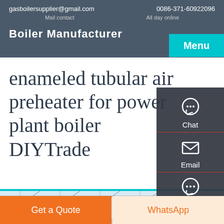gasboilersupplier@gmail.com   0086-371-60922096
Mail contact   All day online
Boiler Manufacturer
enameled tubular air preheater for power plant boiler DIYTrade
[Figure (screenshot): Side contact panel with Chat, Email, and Contact icons on dark background]
[Figure (photo): Interior of industrial factory/warehouse with roof trusses and equipment]
Get a Quote   WhatsApp